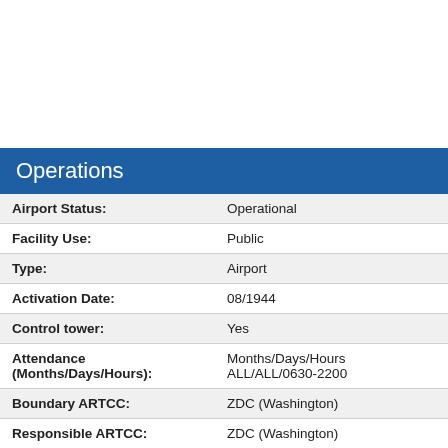Operations
| Field | Value |
| --- | --- |
| Airport Status: | Operational |
| Facility Use: | Public |
| Type: | Airport |
| Activation Date: | 08/1944 |
| Control tower: | Yes |
| Attendance (Months/Days/Hours): | Months/Days/Hours ALL/ALL/0630-2200 |
| Boundary ARTCC: | ZDC (Washington) |
| Responsible ARTCC: | ZDC (Washington) |
| Lighting Schedule: | SEE RMK |